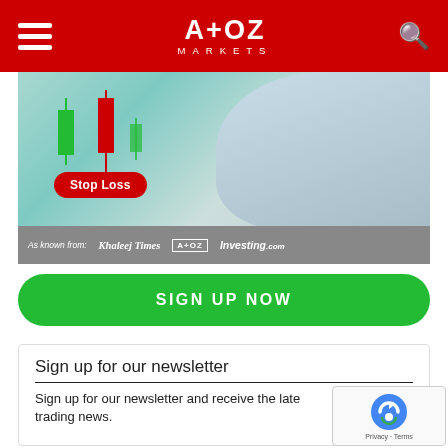A+OZ MARKETS
[Figure (screenshot): Advertisement banner for AtoZ Markets showing candlestick charts, a person in suit, Stop Loss badge, and media logos: Khaleej Times, A+OZ Markets, Investing.com]
SIGN UP NOW
Sign up for our newsletter
Sign up for our newsletter and receive the latest trading news.